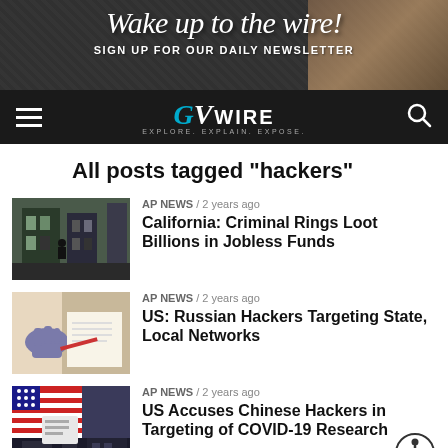[Figure (screenshot): Website header banner with cursive text 'Wake up to the wire!' and bold text 'SIGN UP FOR OUR DAILY NEWSLETTER' on dark background]
[Figure (logo): GVWire navigation bar logo with hamburger menu and search icon on black background]
All posts tagged "hackers"
[Figure (photo): Photo of a building exterior through windows for California criminal rings article]
AP NEWS / 2 years ago
California: Criminal Rings Loot Billions in Jobless Funds
[Figure (photo): Photo of a gloved hand near equipment for Russian hackers article]
AP NEWS / 2 years ago
US: Russian Hackers Targeting State, Local Networks
[Figure (photo): Photo of American flag with dark building for Chinese hackers article]
AP NEWS / 2 years ago
US Accuses Chinese Hackers in Targeting of COVID-19 Research
AP NEWS / 2 years ago